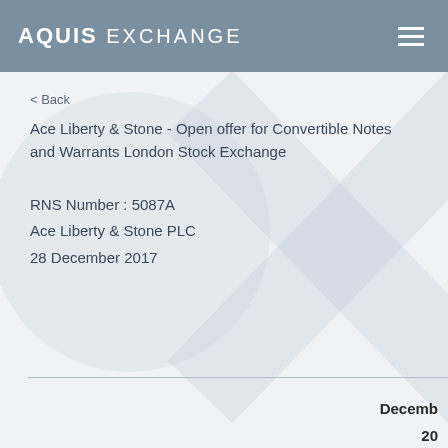AQUIS EXCHANGE
< Back
Ace Liberty & Stone - Open offer for Convertible Notes and Warrants London Stock Exchange
RNS Number : 5087A
Ace Liberty & Stone PLC
28 December 2017
December
20